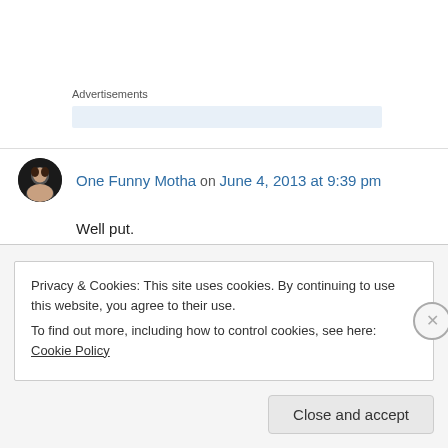Advertisements
One Funny Motha on June 4, 2013 at 9:39 pm
Well put.
↳ Reply
Privacy & Cookies: This site uses cookies. By continuing to use this website, you agree to their use.
To find out more, including how to control cookies, see here: Cookie Policy
Close and accept